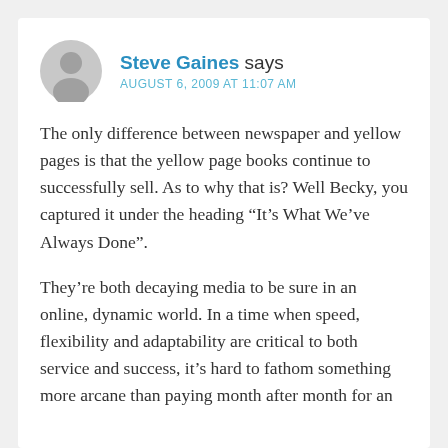[Figure (illustration): Gray circular avatar icon with silhouette of a person]
Steve Gaines says
AUGUST 6, 2009 AT 11:07 AM
The only difference between newspaper and yellow pages is that the yellow page books continue to successfully sell. As to why that is? Well Becky, you captured it under the heading “It’s What We’ve Always Done”.
They’re both decaying media to be sure in an online, dynamic world. In a time when speed, flexibility and adaptability are critical to both service and success, it’s hard to fathom something more arcane than paying month after month for an